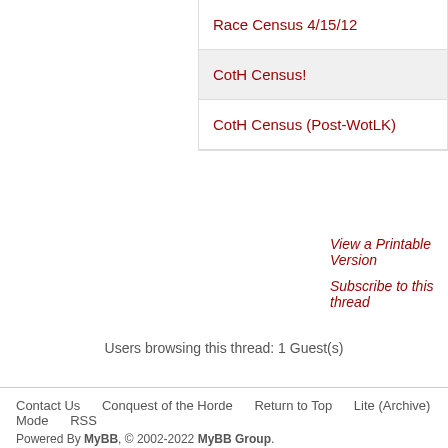Race Census 4/15/12
CotH Census!
CotH Census (Post-WotLK)
View a Printable Version
Subscribe to this thread
Users browsing this thread: 1 Guest(s)
Contact Us   Conquest of the Horde   Return to Top   Lite (Archive) Mode   RSS
Powered By MyBB, © 2002-2022 MyBB Group.